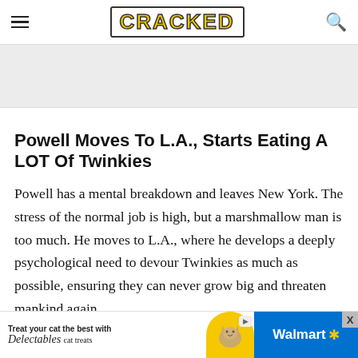CRACKED
[Figure (other): Gray advertisement placeholder banner]
Powell Moves To L.A., Starts Eating A LOT Of Twinkies
Powell has a mental breakdown and leaves New York. The stress of the normal job is high, but a marshmallow man is too much. He moves to L.A., where he develops a deeply psychological need to devour Twinkies as much as possible, ensuring they can never grow big and threaten mankind again
[Figure (other): Bottom advertisement banner: Treat your cat the best with Delectables cat treats, Walmart logo]